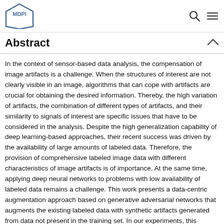MDPI
Abstract
In the context of sensor-based data analysis, the compensation of image artifacts is a challenge. When the structures of interest are not clearly visible in an image, algorithms that can cope with artifacts are crucial for obtaining the desired information. Thereby, the high variation of artifacts, the combination of different types of artifacts, and their similarity to signals of interest are specific issues that have to be considered in the analysis. Despite the high generalization capability of deep learning-based approaches, their recent success was driven by the availability of large amounts of labeled data. Therefore, the provision of comprehensive labeled image data with different characteristics of image artifacts is of importance. At the same time, applying deep neural networks to problems with low availability of labeled data remains a challenge. This work presents a data-centric augmentation approach based on generative adversarial networks that augments the existing labeled data with synthetic artifacts generated from data not present in the training set. In our experiments, this augmentation leads to a more robust generalization in segmentation. Our method does not need additional labeling and does not lead to additional memory or time consumption during inference. Further, we